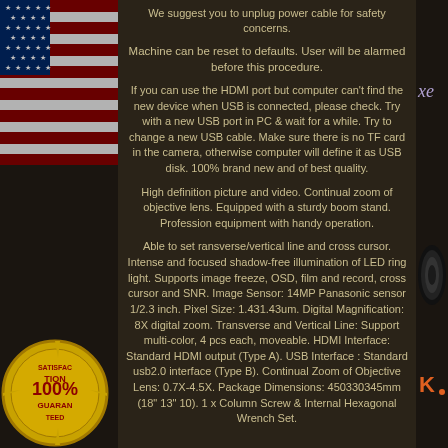We suggest you to unplug power cable for safety concerns.
Machine can be reset to defaults. User will be alarmed before this procedure.
If you can use the HDMI port but computer can't find the new device when USB is connected, please check. Try with a new USB port in PC & wait for a while. Try to change a new USB cable. Make sure there is no TF card in the camera, otherwise computer will define it as USB disk. 100% brand new and of best quality.
High definition picture and video. Continual zoom of objective lens. Equipped with a sturdy boom stand. Profession equipment with handy operation.
Able to set ransverse/vertical line and cross cursor. Intense and focused shadow-free illumination of LED ring light. Supports image freeze, OSD, film and record, cross cursor and SNR. Image Sensor: 14MP Panasonic sensor 1/2.3 inch. Pixel Size: 1.431.43um. Digital Magnification: 8X digital zoom. Transverse and Vertical Line: Support multi-color, 4 pcs each, moveable. HDMI Interface: Standard HDMI output (Type A). USB Interface : Standard usb2.0 interface (Type B). Continual Zoom of Objective Lens: 0.7X-4.5X. Package Dimensions: 450330345mm (18" 13" 10). 1 x Column Screw & Internal Hexagonal Wrench Set.
[Figure (illustration): US flag on left decorative strip]
[Figure (illustration): Satisfaction guarantee gold seal badge on lower left]
[Figure (logo): xe logo on upper right strip]
[Figure (logo): K logo on lower right strip]